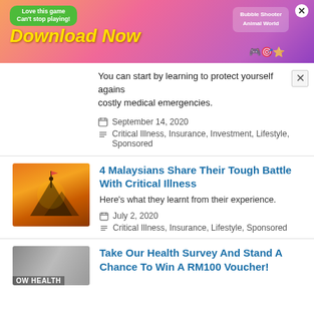[Figure (illustration): Advertisement banner with green bubble speech 'Love this game Can't stop playing! Download Now' with game icons and 'Bubble Shooter Animal World' text on right. X close button top right.]
You can start by learning to protect yourself agains costly medical emergencies.
September 14, 2020
Critical Illness, Insurance, Investment, Lifestyle, Sponsored
[Figure (photo): Person standing on mountain peak holding a flag against a sunset/orange sky background.]
4 Malaysians Share Their Tough Battle With Critical Illness
Here's what they learnt from their experience.
July 2, 2020
Critical Illness, Insurance, Lifestyle, Sponsored
[Figure (photo): Grayscale/muted health-related image with text 'OW HEALTH' visible at bottom left.]
Take Our Health Survey And Stand A Chance To Win A RM100 Voucher!